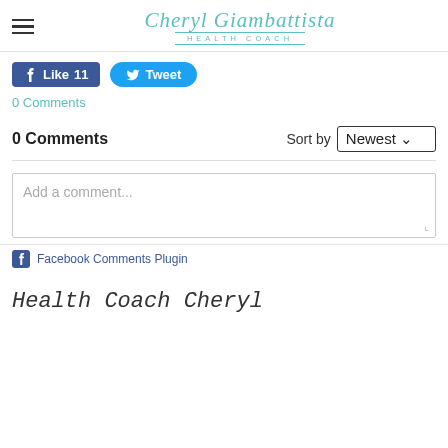Cheryl Giambattista Health Coach
[Figure (screenshot): Facebook Like button showing 11 likes and Twitter Tweet button]
0 Comments
0 Comments  Sort by Newest
[Figure (screenshot): Add a comment text input box]
Facebook Comments Plugin
Health Coach Cheryl